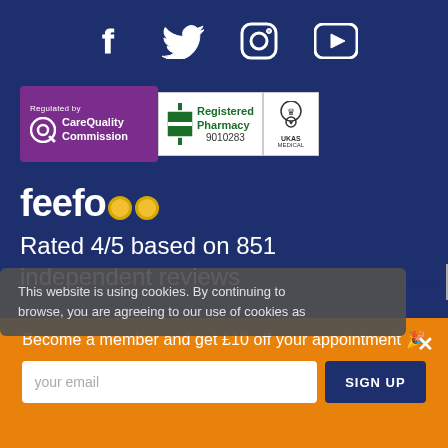[Figure (infographic): Social media icons row: Facebook, Twitter, Instagram, YouTube on dark blue background]
[Figure (logo): CareQuality Commission badge (regulated by), Registered Pharmacy 9010283 badge, UKAS Medical badge]
[Figure (logo): Feefo logo with yellow circular eye icons]
Rated 4/5 based on 851 independent reviews
plaints
This website is using cookies. By continuing to browse, you are agreeing to our use of cookies as
Become a member and get £10 off your appointment 🎉
your email
SIGN UP